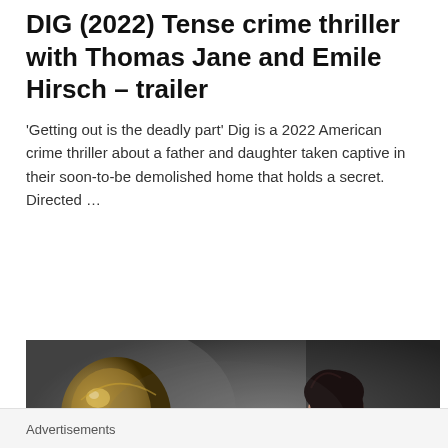DIG (2022) Tense crime thriller with Thomas Jane and Emile Hirsch – trailer
'Getting out is the deadly part' Dig is a 2022 American crime thriller about a father and daughter taken captive in their soon-to-be demolished home that holds a secret. Directed …
READ MORE
[Figure (photo): Dark cinematic still from the film DIG (2022) showing a woman with dark hair looking at an ornate golden object held by another person's hand, in a dimly lit interior scene.]
Advertisements